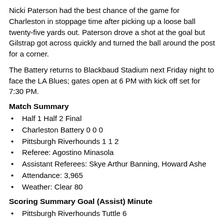Nicki Paterson had the best chance of the game for Charleston in stoppage time after picking up a loose ball twenty-five yards out. Paterson drove a shot at the goal but Gilstrap got across quickly and turned the ball around the post for a corner.
The Battery returns to Blackbaud Stadium next Friday night to face the LA Blues; gates open at 6 PM with kick off set for 7:30 PM.
Match Summary
Half 1 Half 2 Final
Charleston Battery 0 0 0
Pittsburgh Riverhounds 1 1 2
Referee: Agostino Minasola
Assistant Referees: Skye Arthur Banning, Howard Ashe
Attendance: 3,965
Weather: Clear 80
Scoring Summary Goal (Assist) Minute
Pittsburgh Riverhounds Tuttle 6